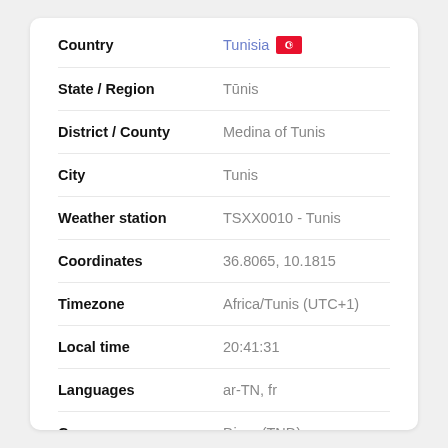| Field | Value |
| --- | --- |
| Country | Tunisia |
| State / Region | Tūnis |
| District / County | Medina of Tunis |
| City | Tunis |
| Weather station | TSXX0010 - Tunis |
| Coordinates | 36.8065, 10.1815 |
| Timezone | Africa/Tunis (UTC+1) |
| Local time | 20:41:31 |
| Languages | ar-TN, fr |
| Currency | Dinar (TND) |